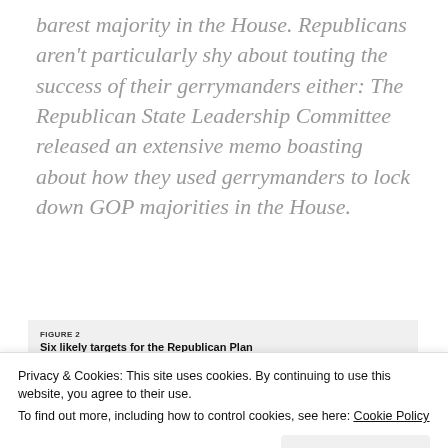barest majority in the House. Republicans aren't particularly shy about touting the success of their gerrymanders either: The Republican State Leadership Committee released an extensive memo boasting about how they used gerrymanders to lock down GOP majorities in the House.
FIGURE 2
Six likely targets for the Republican Plan
Republicans control these six states, all of which supported President Obama in 2012
Privacy & Cookies: This site uses cookies. By continuing to use this website, you agree to their use.
To find out more, including how to control cookies, see here: Cookie Policy
Close and accept